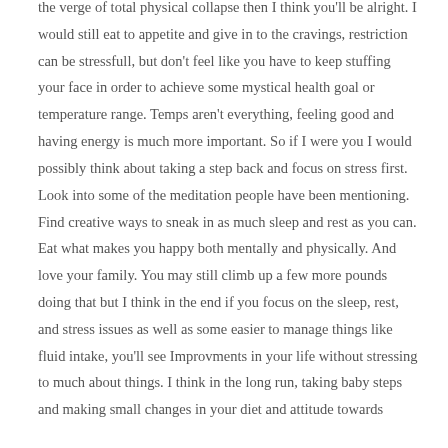the verge of total physical collapse then I think you'll be alright. I would still eat to appetite and give in to the cravings, restriction can be stressfull, but don't feel like you have to keep stuffing your face in order to achieve some mystical health goal or temperature range. Temps aren't everything, feeling good and having energy is much more important. So if I were you I would possibly think about taking a step back and focus on stress first. Look into some of the meditation people have been mentioning. Find creative ways to sneak in as much sleep and rest as you can. Eat what makes you happy both mentally and physically. And love your family. You may still climb up a few more pounds doing that but I think in the end if you focus on the sleep, rest, and stress issues as well as some easier to manage things like fluid intake, you'll see Improvments in your life without stressing to much about things. I think in the long run, taking baby steps and making small changes in your diet and attitude towards